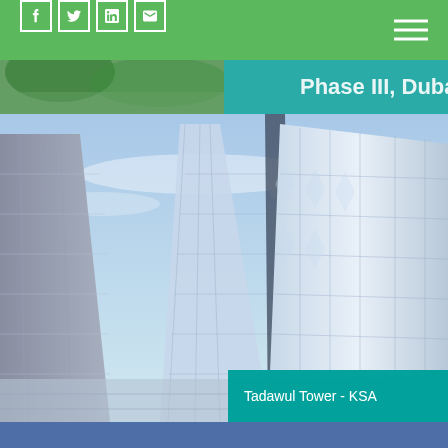Social icons and navigation menu
[Figure (photo): Partial view of a building/nature scene strip at top, partially cropped]
[Figure (photo): Tadawul Tower KSA - modern angular glass skyscrapers against blue sky, architectural rendering]
Tadawul Tower - KSA
[Figure (photo): Partially visible blue-toned image at bottom of page, cropped]